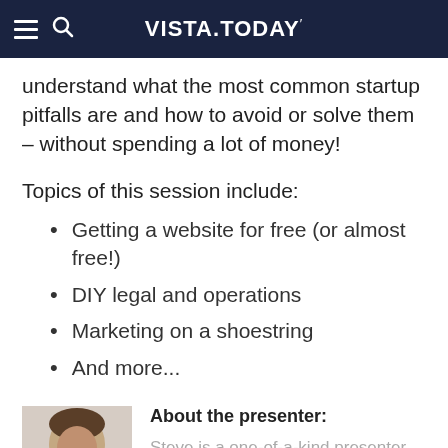VISTA.TODAY
understand what the most common startup pitfalls are and how to avoid or solve them – without spending a lot of money!
Topics of this session include:
Getting a website for free (or almost free!)
DIY legal and operations
Marketing on a shoestring
And more...
About the presenter:
[Figure (photo): Headshot photo of the presenter Steve]
Steve is a one-of-a-kind presenter as well as an attorney, thought leader...